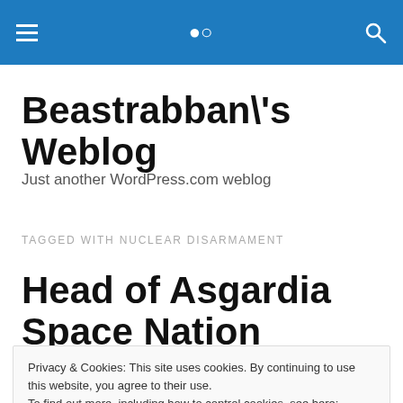Beastrabban\'s Weblog — site navigation header bar
Beastrabban\'s Weblog
Just another WordPress.com weblog
TAGGED WITH NUCLEAR DISARMAMENT
Head of Asgardia Space Nation Attacks Trump's Attempt to Set
Privacy & Cookies: This site uses cookies. By continuing to use this website, you agree to their use. To find out more, including how to control cookies, see here: Cookie Policy
Close and accept